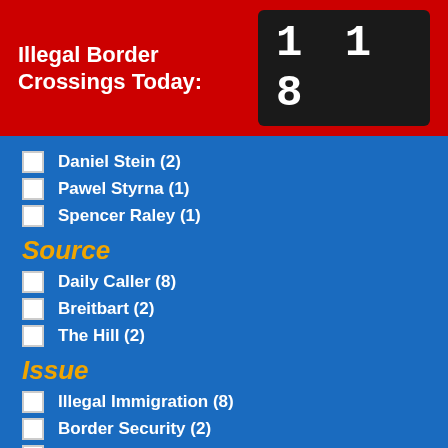Illegal Border Crossings Today: 118
Daniel Stein (2)
Pawel Styrna (1)
Spencer Raley (1)
Source
Daily Caller (8)
Breitbart (2)
The Hill (2)
Issue
Illegal Immigration (8)
Border Security (2)
Legal Immigration (1)
Published Date
August 2022 (5)